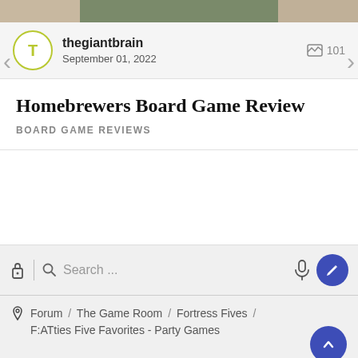[Figure (photo): Top partial photo strip showing nature/game content]
thegiantbrain
September 01, 2022
101
Homebrewers Board Game Review
BOARD GAME REVIEWS
[Figure (screenshot): Search bar with lock icon, search field, microphone icon, and blue edit button]
Forum / The Game Room / Fortress Fives / F:ATties Five Favorites - Party Games